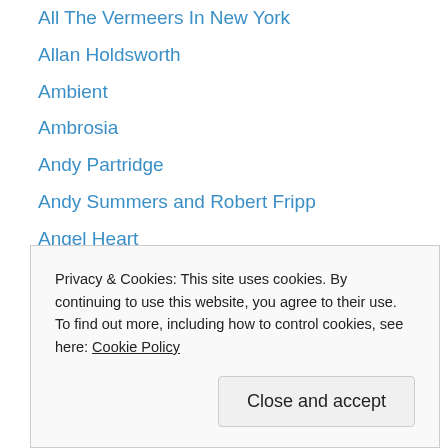All The Vermeers In New York
Allan Holdsworth
Ambient
Ambrosia
Andy Partridge
Andy Summers and Robert Fripp
Angel Heart
Angela Bofill
Art Blakey
Art Ensemble Of Chicago
Art Pepper
Articles
Artist overviews
Associates
Band Names
Privacy & Cookies: This site uses cookies. By continuing to use this website, you agree to their use. To find out more, including how to control cookies, see here: Cookie Policy
Close and accept